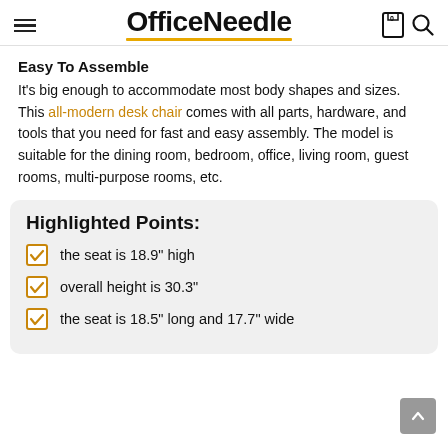OfficeNeedle
Easy To Assemble
It's big enough to accommodate most body shapes and sizes. This all-modern desk chair comes with all parts, hardware, and tools that you need for fast and easy assembly. The model is suitable for the dining room, bedroom, office, living room, guest rooms, multi-purpose rooms, etc.
Highlighted Points:
the seat is 18.9" high
overall height is 30.3"
the seat is 18.5" long and 17.7" wide